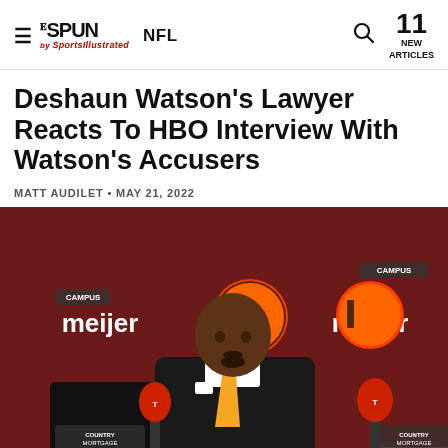THE SPUN by Sports Illustrated | NFL | 11 NEW ARTICLES
Deshaun Watson's Lawyer Reacts To HBO Interview With Watson's Accusers
MATT AUDILET • MAY 21, 2022
[Figure (photo): Deshaun Watson in a dark suit with an orange tie standing at a press conference podium with multiple microphones, Cleveland Browns branding and meijer sponsor backdrop behind him.]